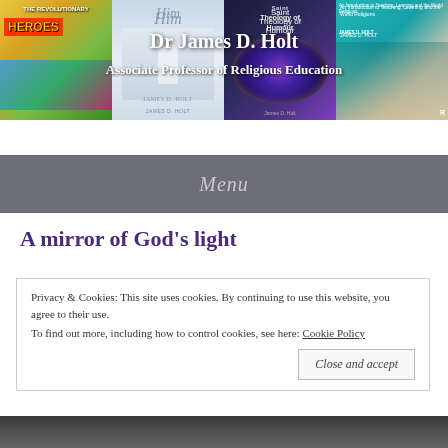[Figure (photo): Four book covers displayed as a banner header: 'Heroes' comic-style book (left), 'Him' spiritual book (second), 'Saint Theology of Humour' with stained glass (third), 'An Introduction to Teaching, Learning and the World Religions' (right)]
Dr James D. Holt
Associate Professor of Religious Education
Menu
A mirror of God’s light
Privacy & Cookies: This site uses cookies. By continuing to use this website, you agree to their use.
To find out more, including how to control cookies, see here: Cookie Policy
Close and accept
[Figure (photo): Bottom edge of a black and white photograph, partially visible]